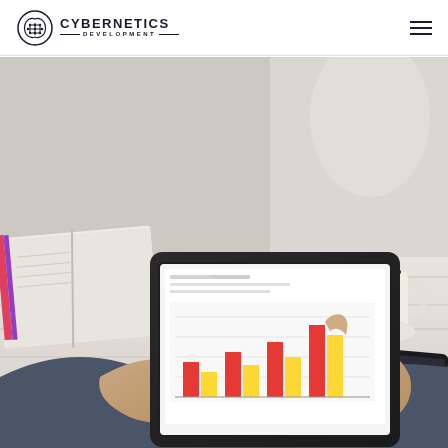Cybernetics Development — navigation header with logo and hamburger menu
[Figure (photo): Person holding a tablet displaying a bar chart with red and yellow bars, sitting at a white wooden desk with an open book, coffee cup, and smartphone nearby. Business analytics scene.]